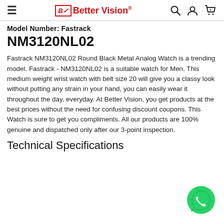Better Vision®
Model Number: Fastrack NM3120NL02
Fastrack NM3120NL02 Round Black Metal Analog Watch is a trending model. Fastrack - NM3120NL02 is a suitable watch for Men. This medium weight wrist watch with belt size 20 will give you a classy look without putting any strain in your hand, you can easily wear it throughout the day, everyday. At Better Vision, you get products at the best prices without the need for confusing discount coupons. This Watch is sure to get you compliments. All our products are 100% genuine and dispatched only after our 3-point inspection.
Technical Specifications
[Figure (logo): WhatsApp contact button (green circle with phone handset icon)]